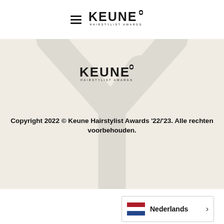[Figure (logo): Keune Hairstylist Awards logo with hamburger menu icon on the left, displayed in top navigation bar]
[Figure (illustration): Cream/beige background section with a large light grey Keune logo watermark (Y-shaped scissor/award graphic). Keune Hairstylist Awards logo centered in the section.]
Copyright 2022 © Keune Hairstylist Awards '22/'23. Alle rechten voorbehouden.
[Figure (infographic): Netherlands flag icon next to the text 'Nederlands' with a right-pointing chevron arrow, inside a bordered language selector box]